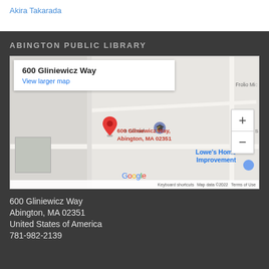Akira Takarada
ABINGTON PUBLIC LIBRARY
[Figure (map): Google Map showing 600 Gliniewicz Way, Abington, MA 02351 with a red location pin. Map includes info box with address and 'View larger map' link, zoom controls, nearby labels including Frolio Middle, Lynn S, and Lowe's Home Improvement, and Google branding with keyboard shortcuts and map data copyright 2022.]
600 Gliniewicz Way
Abington, MA 02351
United States of America
781-982-2139